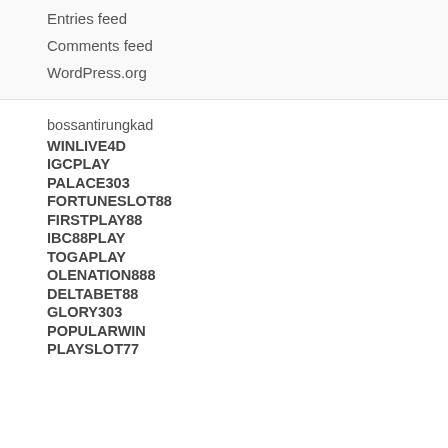Entries feed
Comments feed
WordPress.org
bossantirungkad
WINLIVE4D
IGCPLAY
PALACE303
FORTUNESLOT88
FIRSTPLAY88
IBC88PLAY
TOGAPLAY
OLENATION888
DELTABET88
GLORY303
POPULARWIN
PLAYSLOT77